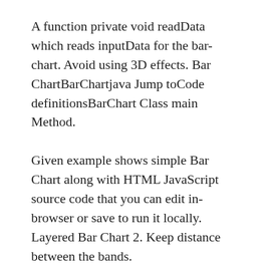A function private void readData which reads inputData for the bar-chart. Avoid using 3D effects. Bar ChartBarChartjava Jump toCode definitionsBarChart Class main Method.
Given example shows simple Bar Chart along with HTML JavaScript source code that you can edit in-browser or save to run it locally. Layered Bar Chart 2. Keep distance between the bands.
Next we want to create bars corresponding to the data values. Charts are highly customizable interactive support animation zooming panning